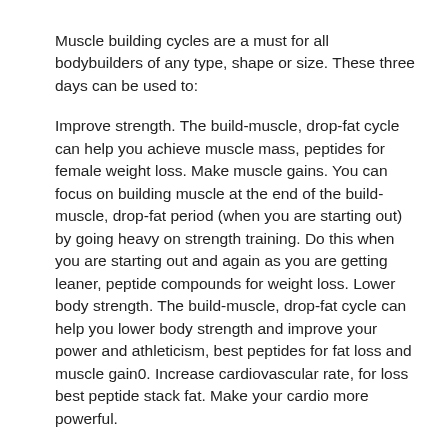Muscle building cycles are a must for all bodybuilders of any type, shape or size. These three days can be used to:
Improve strength. The build-muscle, drop-fat cycle can help you achieve muscle mass, peptides for female weight loss. Make muscle gains. You can focus on building muscle at the end of the build-muscle, drop-fat period (when you are starting out) by going heavy on strength training. Do this when you are starting out and again as you are getting leaner, peptide compounds for weight loss. Lower body strength. The build-muscle, drop-fat cycle can help you lower body strength and improve your power and athleticism, best peptides for fat loss and muscle gain0. Increase cardiovascular rate, for loss best peptide stack fat. Make your cardio more powerful.